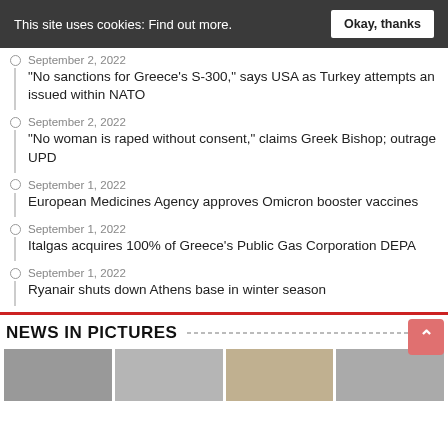This site uses cookies: Find out more. Okay, thanks
September 2, 2022 — “No sanctions for Greece’s S-300,” says USA as Turkey attempts an issued within NATO
September 2, 2022 — “No woman is raped without consent,” claims Greek Bishop; outrage UPD
September 1, 2022 — European Medicines Agency approves Omicron booster vaccines
September 1, 2022 — Italgas acquires 100% of Greece’s Public Gas Corporation DEPA
September 1, 2022 — Ryanair shuts down Athens base in winter season
NEWS IN PICTURES
[Figure (photo): Four thumbnail images in a horizontal strip below the NEWS IN PICTURES heading]